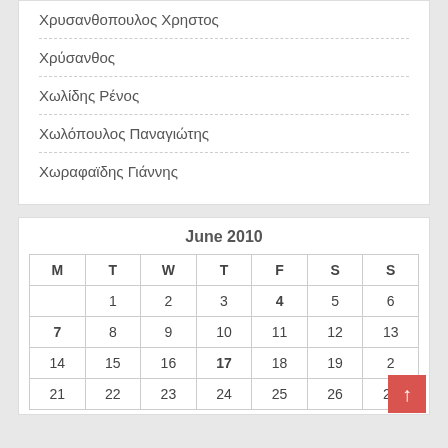Χρυσανθοπουλος Χρηστος
Χρύσανθος
Χωλίδης Ρένος
Χωλόπουλος Παναγιώτης
Χωραφαϊδης Γιάννης
June 2010
| M | T | W | T | F | S | S |
| --- | --- | --- | --- | --- | --- | --- |
|  | 1 | 2 | 3 | 4 | 5 | 6 |
| 7 | 8 | 9 | 10 | 11 | 12 | 13 |
| 14 | 15 | 16 | 17 | 18 | 19 | 20 |
| 21 | 22 | 23 | 24 | 25 | 26 | 27 |